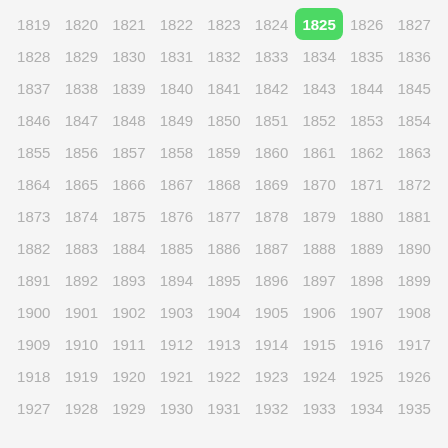[Figure (other): A grid of years from 1819 to 1935 displayed in 9 columns and 13 rows. The year 1825 is highlighted with a green rounded rectangle background and white bold text. All other years are shown in light gray text on a light gray background.]